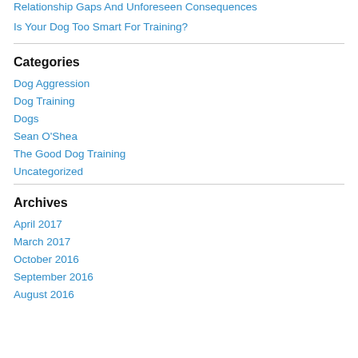Relationship Gaps And Unforeseen Consequences
Is Your Dog Too Smart For Training?
Categories
Dog Aggression
Dog Training
Dogs
Sean O'Shea
The Good Dog Training
Uncategorized
Archives
April 2017
March 2017
October 2016
September 2016
August 2016